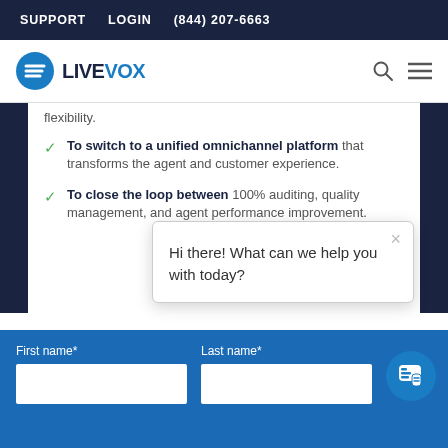SUPPORT  LOGIN  (844) 207-6663
[Figure (logo): LiveVox logo with blue circle icon and LIVEVOX wordmark]
flexibility.
To switch to a unified omnichannel platform that transforms the agent and customer experience.
To close the loop between 100% auditing, quality management, and agent performance improvement.
Hi there! What can we help you with today?
First name*  Last name*